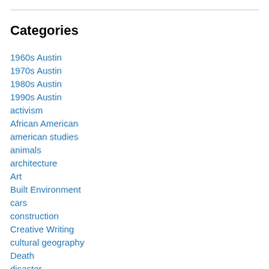Categories
1960s Austin
1970s Austin
1980s Austin
1990s Austin
activism
African American
american studies
animals
architecture
Art
Built Environment
cars
construction
Creative Writing
cultural geography
Death
disaster